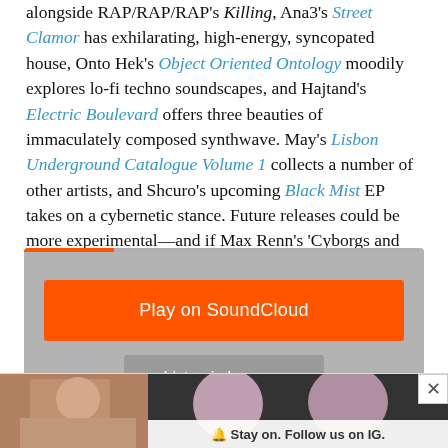alongside RAP/RAP/RAP's Killing, Ana3's Street Clamor has exhilarating, high-energy, syncopated house, Onto Hek's Object Oriented Ontology moodily explores lo-fi techno soundscapes, and Hajtand's Electric Boulevard offers three beauties of immaculately composed synthwave. May's Lisbon Underground Catalogue Volume 1 collects a number of other artists, and Shcuro's upcoming Black Mist EP takes on a cybernetic stance. Future releases could be more experimental—and if Max Renn's 'Cyborgs and Angels' is anything to go by [premiered below], even beatless.
[Figure (screenshot): SoundCloud embedded player with orange 'Play on SoundCloud' button and grey 'Listen in browser' button on grey background]
[Figure (screenshot): FADER advertisement banner with photos of women and text 'Stay on. Follow us on IG.' with close button]